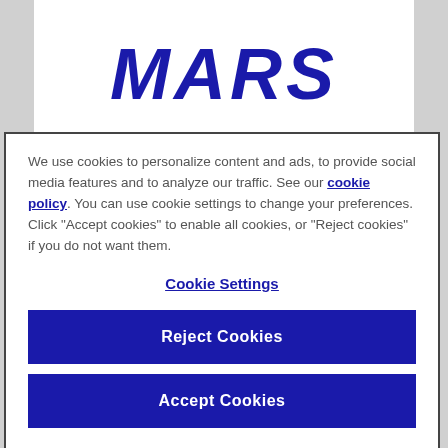[Figure (logo): MARS company logo in large bold dark blue italic text]
We use cookies to personalize content and ads, to provide social media features and to analyze our traffic. See our cookie policy. You can use cookie settings to change your preferences. Click "Accept cookies" to enable all cookies, or "Reject cookies" if you do not want them.
Cookie Settings
Reject Cookies
Accept Cookies